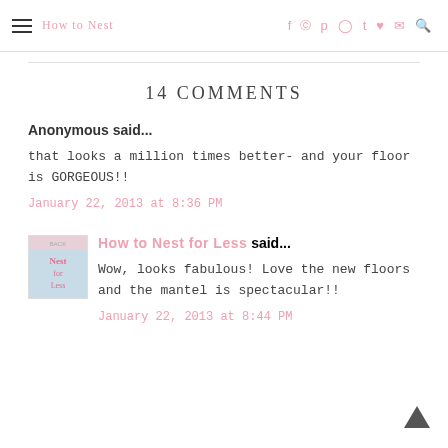How to Nest for Less — navigation bar with social icons
14 COMMENTS
Anonymous said...
that looks a million times better- and your floor is GORGEOUS!!
January 22, 2013 at 8:36 PM
How to Nest for Less said...
Wow, looks fabulous! Love the new floors and the mantel is spectacular!!
January 22, 2013 at 8:44 PM